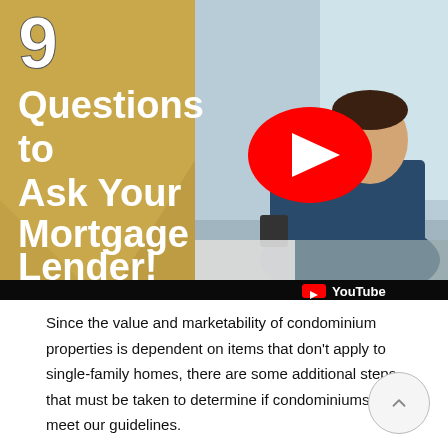[Figure (screenshot): YouTube video thumbnail showing '9 Questions to Ask Your Mortgage Lender!' with a man on the phone at a desk, YouTube play button overlay and YouTube logo bar at bottom]
Since the value and marketability of condominium properties is dependent on items that don't apply to single-family homes, there are some additional steps that must be taken to determine if condominiums meet our guidelines.